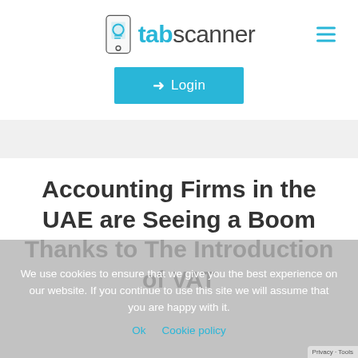[Figure (logo): tabscanner logo with phone/document icon and hamburger menu icon]
Login
Accounting Firms in the UAE are Seeing a Boom Thanks to The Introduction of VAT
We use cookies to ensure that we give you the best experience on our website. If you continue to use this site we will assume that you are happy with it.
Ok · Cookie policy